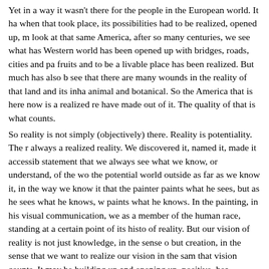Yet in a way it wasn't there for the people in the European world. It ha when that took place, its possibilities had to be realized, opened up, m look at that same America, after so many centuries, we see what has Western world has been opened up with bridges, roads, cities and pa fruits and to be a livable place has been realized. But much has also b see that there are many wounds in the reality of that land and its inha animal and botanical. So the America that is here now is a realized re have made out of it. The quality of that is what counts. So reality is not simply (objectively) there. Reality is potentiality. The r always a realized reality. We discovered it, named it, made it accessib statement that we always see what we know, or understand, of the wo the potential world outside as far as we know it, in the way we know it that the painter paints what he sees, but as he sees what he knows, w paints what he knows. In the painting, in his visual communication, we as a member of the human race, standing at a certain point of its histo of reality. But our vision of reality is not just knowledge, in the sense o but creation, in the sense that we want to realize our vision in the sam that vision counts. It may be building up and opening up, positive, bea negative, destructive, ugly, poor. Usually it is a mixture of these two ex Reality is the present; it also encompasses the past. It is the things se seen which are nevertheless very real like love, hate, justice, beauty, painters will always paint what they think is relevant, important for the